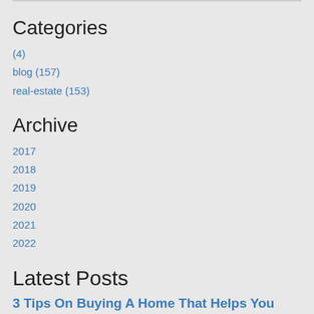Categories
(4)
blog (157)
real-estate (153)
Archive
2017
2018
2019
2020
2021
2022
Latest Posts
3 Tips On Buying A Home That Helps You Minimize Utility Costs 1 September 2022
When moving from an apartment to a rental home, you may notice your utility costs increase. Through your …